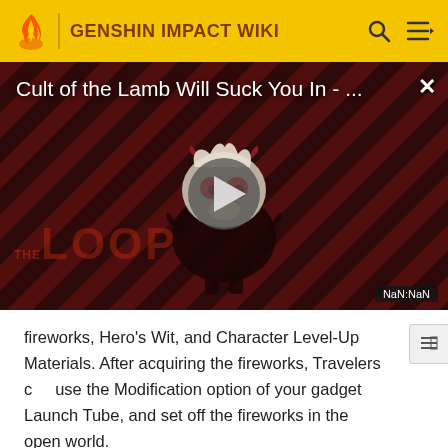GENSHIN IMPACT WIKI
[Figure (screenshot): Video thumbnail with diagonal dark red stripes, a cartoon lamb/monster character, a play button in the center, and THE LOOP watermark text. Title overlay reads 'Cult of the Lamb Will Suck You In - ...' with a close X button. NaN:NaN badge in bottom right.]
fireworks, Hero's Wit, and Character Level-Up Materials. After acquiring the fireworks, Travelers can use the Modification option of your gadget Launch Tube, and set off the fireworks in the open world.
The Launch Tube gadget is non-time-limited and can